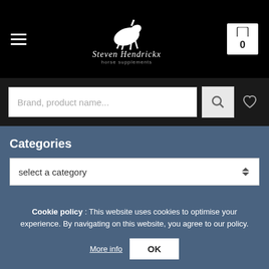Steven Hendrickx horse supplements
Brand, product name...
Categories
select a category
Show more filters
Nosebands
Cookie policy : This website uses cookies to optimise your experience. By navigating on this website, you agree to our policy.
More info  OK